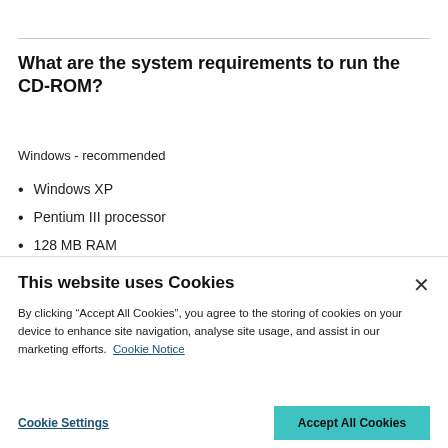What are the system requirements to run the CD-ROM?
Windows - recommended
Windows XP
Pentium III processor
128 MB RAM
100 MB free hard-drive space
16X CD-ROM drive
This website uses Cookies

By clicking “Accept All Cookies”, you agree to the storing of cookies on your device to enhance site navigation, analyse site usage, and assist in our marketing efforts. Cookie Notice

Cookie Settings   Accept All Cookies